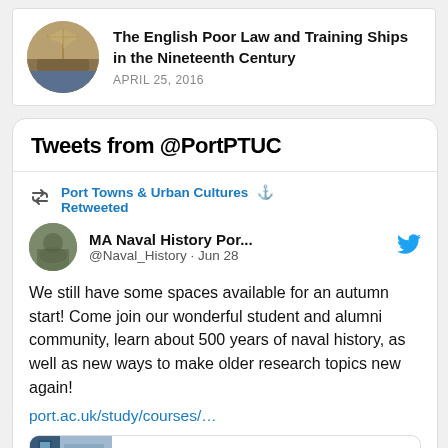[Figure (illustration): Circular thumbnail image of a sailing ship, sepia-toned]
The English Poor Law and Training Ships in the Nineteenth Century
APRIL 25, 2016
Tweets from @PortPTUC
Port Towns & Urban Cultures Retweeted
MA Naval History Por... @Naval_History · Jun 28
We still have some spaces available for an autumn start! Come join our wonderful student and alumni community, learn about 500 years of naval history, as well as new ways to make older research topics new again! port.ac.uk/study/courses/…
port.ac.uk